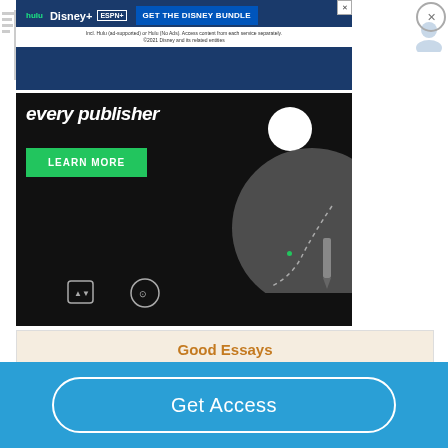[Figure (screenshot): Disney Bundle advertisement banner showing Hulu, Disney+, ESPN+ logos with 'GET THE DISNEY BUNDLE' button in blue, and fine print below]
[Figure (screenshot): Game/publisher advertisement with dark background showing text 'every publisher', a green LEARN MORE button, white circle, gray blob shape, and dotted line trail element]
Good Essays
Fear Of Moral Judgment In Ayn Rand's Anthem
Get Access